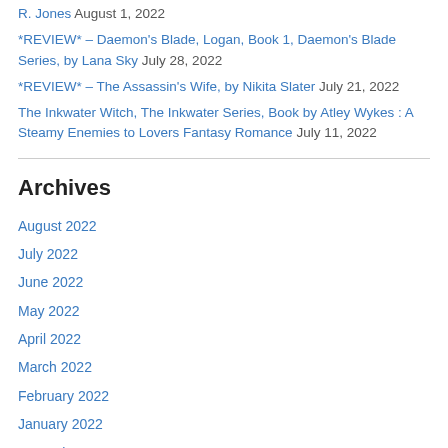R. Jones August 1, 2022
*REVIEW* – Daemon's Blade, Logan, Book 1, Daemon's Blade Series, by Lana Sky July 28, 2022
*REVIEW* – The Assassin's Wife, by Nikita Slater July 21, 2022
The Inkwater Witch, The Inkwater Series, Book by Atley Wykes : A Steamy Enemies to Lovers Fantasy Romance July 11, 2022
Archives
August 2022
July 2022
June 2022
May 2022
April 2022
March 2022
February 2022
January 2022
December 2021
November 2021